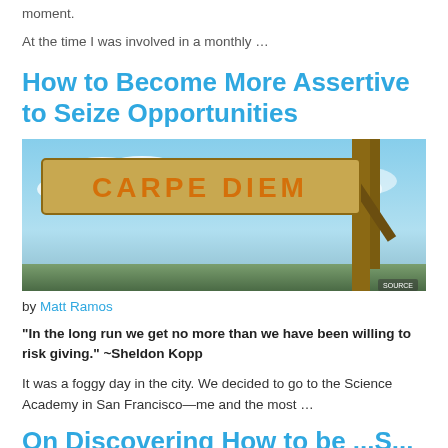moment.
At the time I was involved in a monthly …
How to Become More Assertive to Seize Opportunities
[Figure (photo): A wooden sign reading 'CARPE DIEM' against a blue sky with clouds and wooden posts]
by Matt Ramos
“In the long run we get no more than we have been willing to risk giving.” ~Sheldon Kopp
It was a foggy day in the city. We decided to go to the Science Academy in San Francisco—me and the most …
On Discovering How to be ...S...